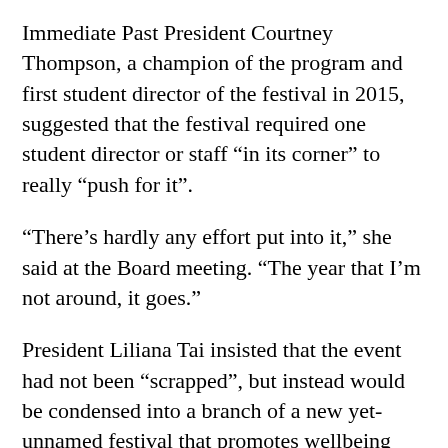Immediate Past President Courtney Thompson, a champion of the program and first student director of the festival in 2015, suggested that the festival required one student director or staff “in its corner” to really “push for it”.
“There’s hardly any effort put into it,” she said at the Board meeting. “The year that I’m not around, it goes.”
President Liliana Tai insisted that the event had not been “scrapped”, but instead would be condensed into a branch of a new yet-unnamed festival that promotes wellbeing and sexual health. She said the USU still intended to run many of the current panel sessions in a new format.